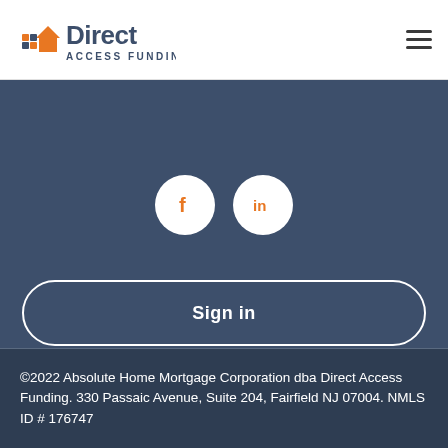[Figure (logo): Direct Access Funding logo with orange house icon and dark blue text]
[Figure (infographic): Hamburger menu icon (three horizontal lines)]
[Figure (infographic): Social media icons: Facebook (f) and LinkedIn (in) as white circles on dark blue background]
Sign in
Apply Now
©2022 Absolute Home Mortgage Corporation dba Direct Access Funding. 330 Passaic Avenue, Suite 204, Fairfield NJ 07004. NMLS ID # 176747